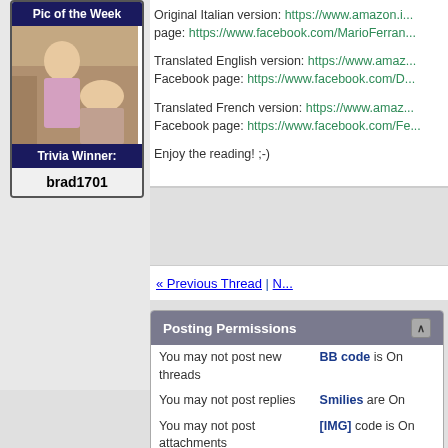Pic of the Week
[Figure (photo): Photo thumbnail showing people]
Trivia Winner:
brad1701
Original Italian version: https://www.amazon.i... page: https://www.facebook.com/MarioFerran...
Translated English version: https://www.amaz... Facebook page: https://www.facebook.com/D...
Translated French version: https://www.amaz... Facebook page: https://www.facebook.com/Fe...
Enjoy the reading! ;-)
« Previous Thread | N...
Posting Permissions
|  |  |
| --- | --- |
| You may not post new threads | BB code is On |
| You may not post replies | Smilies are On |
| You may not post attachments | [IMG] code is On |
|  | [VIDEO] code is On |